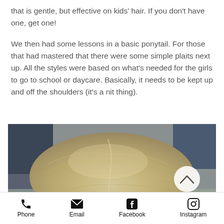that is gentle, but effective on kids' hair. If you don't have one, get one!
We then had some lessons in a basic ponytail. For those that had mastered that there were some simple plaits next up. All the styles were based on what's needed for the girls to go to school or daycare. Basically, it needs to be kept up and off the shoulders (it's a nit thing).
[Figure (photo): Close-up photo of a child's blonde hair styled in an updo/plait from above]
Phone  Email  Facebook  Instagram